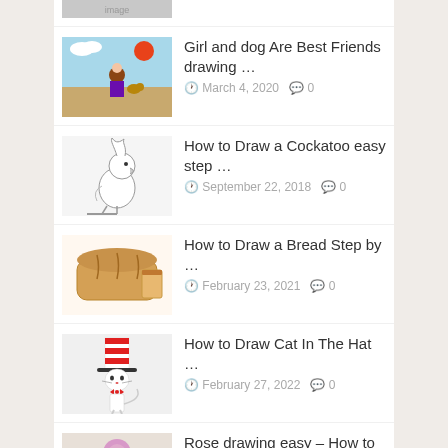Girl and dog Are Best Friends drawing ...
March 4, 2020  0
How to Draw a Cockatoo easy step ...
September 22, 2018  0
How to Draw a Bread Step by ...
February 23, 2021  0
How to Draw Cat In The Hat ...
February 27, 2022  0
Rose drawing easy – How to draw ...
April 7, 2018  18